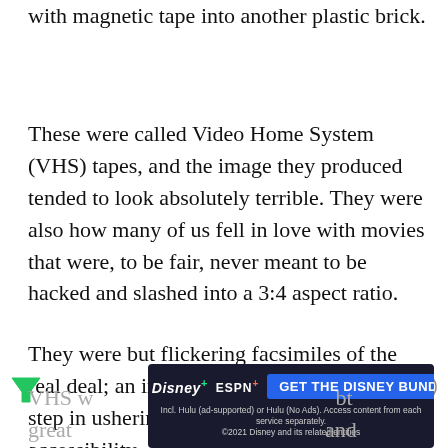with magnetic tape into another plastic brick.
These were called Video Home System (VHS) tapes, and the image they produced tended to look absolutely terrible. They were also how many of us fell in love with movies that were, to be fair, never meant to be hacked and slashed into a 3:4 aspect ratio.
They were but flickering facsimiles of the real deal; an imperfect but ultimately vital step in ushering in a new era of cinematic accessibility.
[Figure (infographic): Disney Bundle advertisement banner showing Hulu, Disney+, and ESPN+ logos with a blue 'GET THE DISNEY BUNDLE' button and fine print about subscription options.]
VHS w... greate...